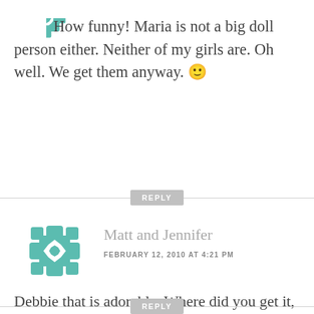[Figure (logo): Teal geometric/ornamental avatar icon, partially visible at top]
How funny! Maria is not a big doll person either. Neither of my girls are. Oh well. We get them anyway. 🙂
REPLY
[Figure (logo): Teal geometric cross/star pattern avatar icon for Matt and Jennifer]
Matt and Jennifer
FEBRUARY 12, 2010 AT 4:21 PM
Debbie that is adorable. Where did you get it, I may have to buy one for our sweet girl to be. That is too funny that Lili wants to play with it!
REPLY